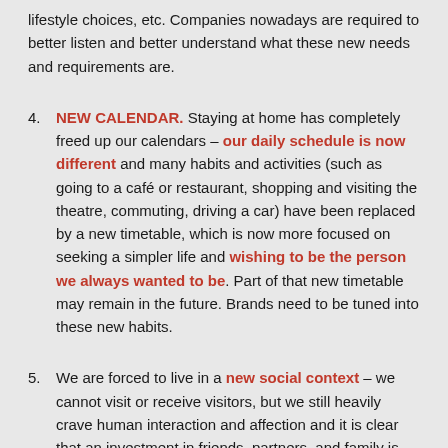lifestyle choices, etc. Companies nowadays are required to better listen and better understand what these new needs and requirements are.
4. NEW CALENDAR. Staying at home has completely freed up our calendars – our daily schedule is now different and many habits and activities (such as going to a café or restaurant, shopping and visiting the theatre, commuting, driving a car) have been replaced by a new timetable, which is now more focused on seeking a simpler life and wishing to be the person we always wanted to be. Part of that new timetable may remain in the future. Brands need to be tuned into these new habits.
5. We are forced to live in a new social context – we cannot visit or receive visitors, but we still heavily crave human interaction and affection and it is clear that an investment in friends, partners, and family is vital to our